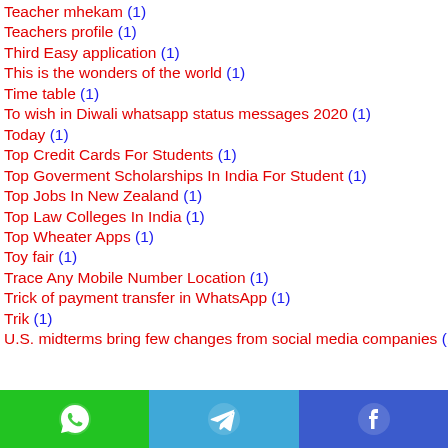Teacher mhekam (1)
Teachers profile (1)
Third Easy application (1)
This is the wonders of the world (1)
Time table (1)
To wish in Diwali whatsapp status messages 2020 (1)
Today (1)
Top Credit Cards For Students (1)
Top Goverment Scholarships In India For Student (1)
Top Jobs In New Zealand (1)
Top Law Colleges In India (1)
Top Wheater Apps (1)
Toy fair (1)
Trace Any Mobile Number Location (1)
Trick of payment transfer in WhatsApp (1)
Trik (1)
U.S. midterms bring few changes from social media companies (1)
[Figure (infographic): Bottom share bar with WhatsApp (green), Telegram (light blue), and Facebook (dark blue) icons]